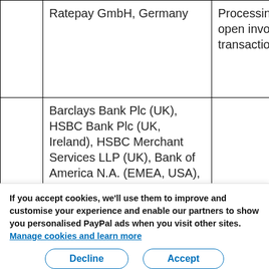|  | Entity | Purpose |
| --- | --- | --- |
|  | Ratepay GmbH, Germany | Processing of open invoice transactions |
|  | Barclays Bank Plc (UK), HSBC Bank Plc (UK, Ireland), HSBC Merchant Services LLP (UK), Bank of America N.A. (EMEA, USA), ... | ... |
If you accept cookies, we'll use them to improve and customise your experience and enable our partners to show you personalised PayPal ads when you visit other sites. Manage cookies and learn more